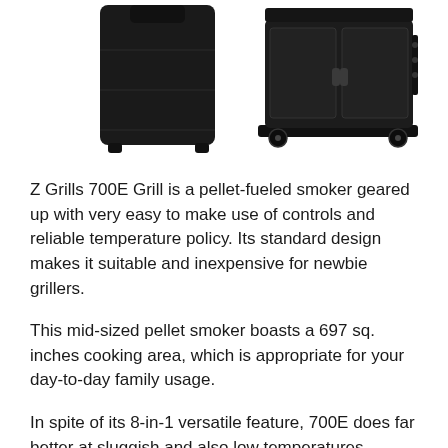[Figure (photo): Two Z Grills 700E grills side by side: left shows grill with black cover/bag, right shows the grill unit with cabinet doors and wheels.]
Z Grills 700E Grill is a pellet-fueled smoker geared up with very easy to make use of controls and reliable temperature policy. Its standard design makes it suitable and inexpensive for newbie grillers.
This mid-sized pellet smoker boasts a 697 sq. inches cooking area, which is appropriate for your day-to-day family usage.
In spite of its 8-in-1 versatile feature, 700E does far better at sluggish and also low temperatures.